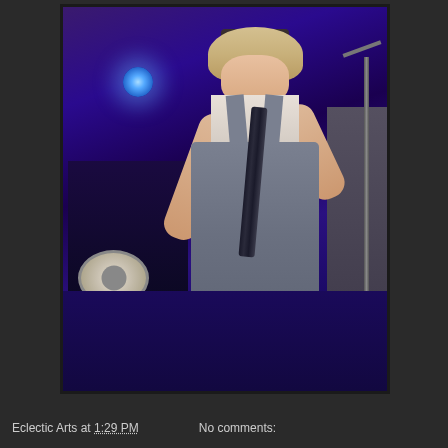[Figure (photo): A performer on stage wearing overalls and a blonde wig, playing a wind instrument (flute or clarinet) under purple/blue stage lighting, with a drum kit visible in the background and a microphone stand nearby.]
Eclectic Arts at 1:29 PM    No comments: